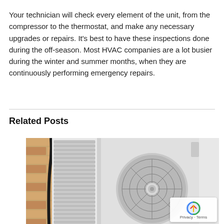Your technician will check every element of the unit, from the compressor to the thermostat, and make any necessary upgrades or repairs. It's best to have these inspections done during the off-season. Most HVAC companies are a lot busier during the winter and summer months, when they are continuously performing emergency repairs.
Related Posts
[Figure (photo): Outdoor HVAC unit (air conditioner/heat pump) mounted on a brick wall, showing the fan grille, louvered panels, and condenser unit casing in white/grey against tan brick.]